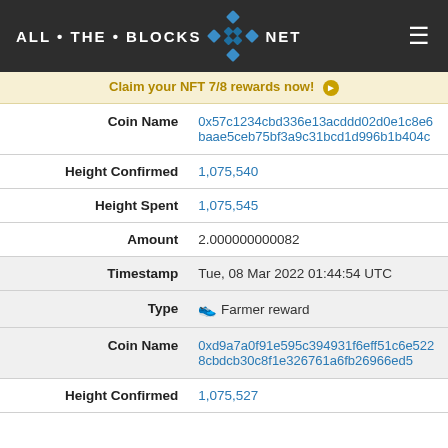ALL • THE • BLOCKS  NET
Claim your NFT 7/8 rewards now!
| Field | Value |
| --- | --- |
| Coin Name | 0x57c1234cbd336e13acddd02d0e1c8e6baae5ceb75bf3a9c31bcd1d996b1b404c |
| Height Confirmed | 1,075,540 |
| Height Spent | 1,075,545 |
| Amount | 2.000000000082 |
| Timestamp | Tue, 08 Mar 2022 01:44:54 UTC |
| Type | Farmer reward |
| Coin Name | 0xd9a7a0f91e595c394931f6eff51c6e5228cbdcb30c8f1e326761a6fb26966ed5 |
| Height Confirmed | 1,075,527 |